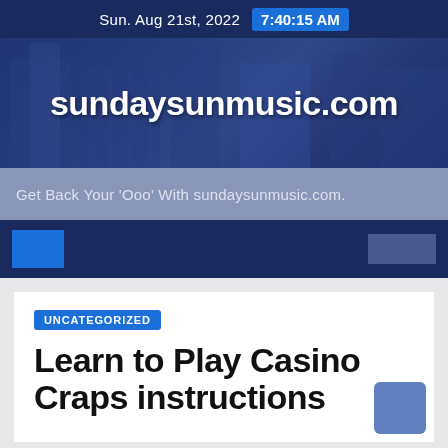Sun. Aug 21st, 2022  7:40:15 AM
[Figure (screenshot): Website banner hero image for sundaysunmusic.com showing cityscape/buildings in background with blue overlay]
sundaysunmusic.com
Get Back Your 'Ooo' With sundaysunmusic.com.
[Figure (screenshot): Navigation bar with blue square accent box and secondary rectangle element]
UNCATEGORIZED
Learn to Play Casino Craps instructions